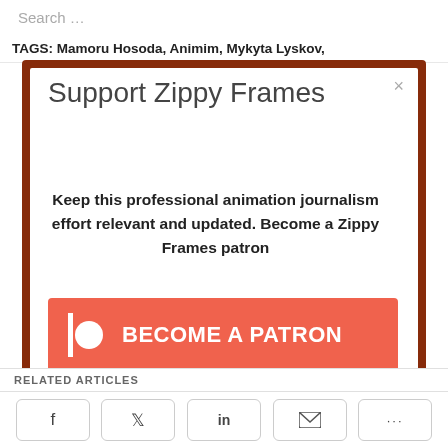Search …
TAGS: Mamoru Hosoda, Animim, Mykyta Lyskov,
Support Zippy Frames
Keep this professional animation journalism effort relevant and updated. Become a Zippy Frames patron
[Figure (screenshot): Patreon button with Patreon logo icon and text BECOME A PATRON on a coral/red-orange background]
RELATED ARTICLES
Social share buttons: Facebook, Twitter, LinkedIn, Email, More